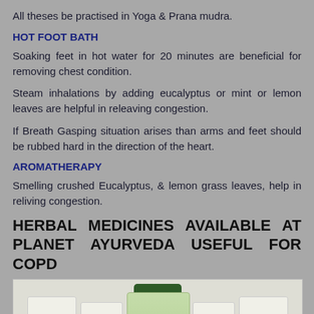All theses be practised in Yoga & Prana mudra.
HOT FOOT BATH
Soaking feet in hot water for 20 minutes are beneficial for removing chest condition.
Steam inhalations by adding eucalyptus or mint or lemon leaves are helpful in releaving congestion.
If Breath Gasping situation arises than arms and feet should be rubbed hard in the direction of the heart.
AROMATHERAPY
Smelling crushed Eucalyptus, & lemon grass leaves, help in reliving congestion.
HERBAL MEDICINES AVAILABLE AT PLANET AYURVEDA USEFUL FOR COPD
[Figure (photo): Photo of Planet Ayurveda herbal medicine products - jars and bottles with white labels and a green-lidded bottle in the center]